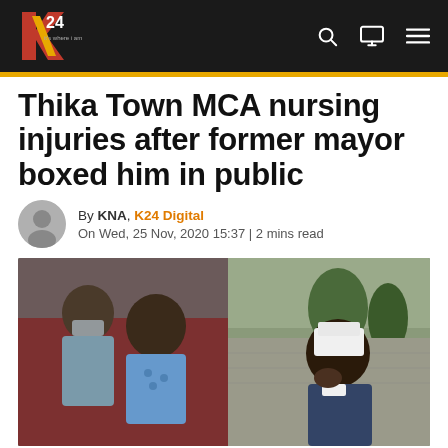K24 Digital
Thika Town MCA nursing injuries after former mayor boxed him in public
By KNA, K24 Digital
On Wed, 25 Nov, 2020 15:37 | 2 mins read
[Figure (photo): Left side shows two people, one wearing a mask and another in a blue top, with a red background. Right side shows a man with white bandaging on his head holding something to his face, standing outdoors near a wall and trees.]